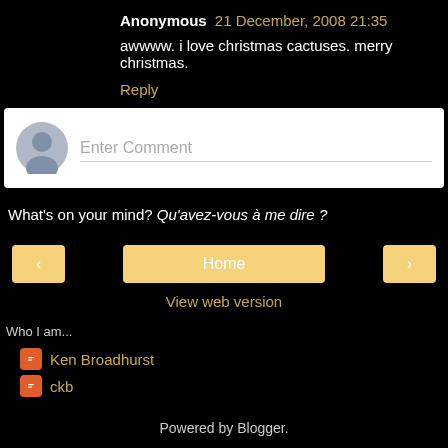Anonymous 21 December, 2008 21:35
awwww. i love christmas cactuses. merry christmas.
Reply
[Figure (other): Comment entry box with avatar placeholder and 'Enter Comment' input field]
What's on your mind? Qu'avez-vous à me dire ?
< Home >
View web version
Who I am...
Ken Broadhurst
ckb
Powered by Blogger.